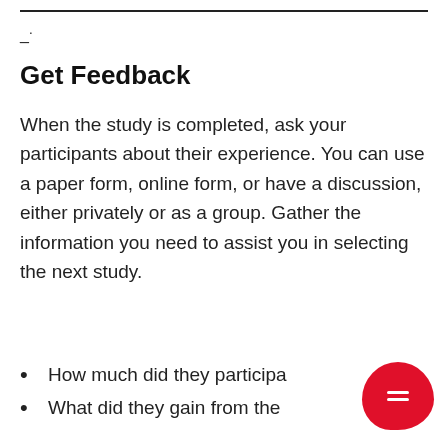_.
Get Feedback
When the study is completed, ask your participants about their experience. You can use a paper form, online form, or have a discussion, either privately or as a group. Gather the information you need to assist you in selecting the next study.
How much did they participa…
What did they gain from the